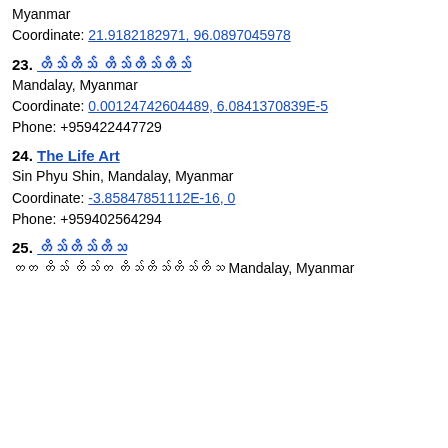Myanmar
Coordinate: 21.9182182971, 96.0897045978
23. [Myanmar script] Mandalay, Myanmar
Coordinate: 0.00124742604489, 6.0841370839E-5
Phone: +959422447729
24. The Life Art
Sin Phyu Shin, Mandalay, Myanmar
Coordinate: -3.85847851112E-16, 0
Phone: +959402564294
25. [Myanmar script]
[Myanmar script] Mandalay, Myanmar